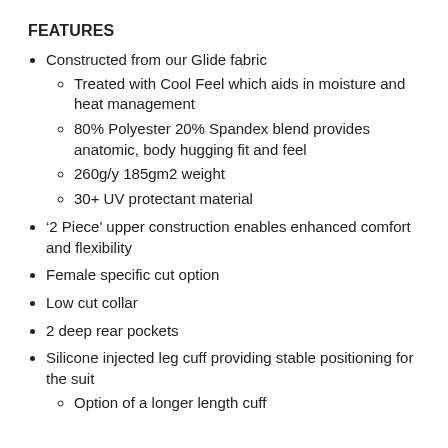FEATURES
Constructed from our Glide fabric
Treated with Cool Feel which aids in moisture and heat management
80% Polyester 20% Spandex blend provides anatomic, body hugging fit and feel
260g/y 185gm2 weight
30+ UV protectant material
‘2 Piece’ upper construction enables enhanced comfort and flexibility
Female specific cut option
Low cut collar
2 deep rear pockets
Silicone injected leg cuff providing stable positioning for the suit
Option of a longer length cuff